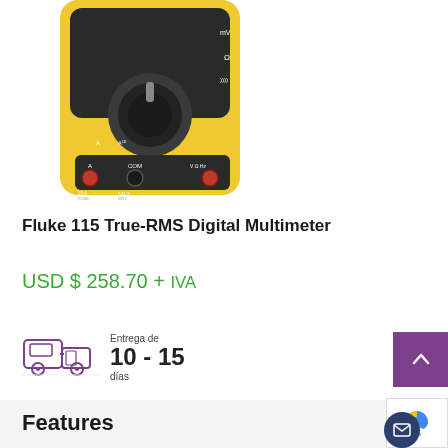[Figure (photo): Fluke 115 digital multimeter with yellow and black casing, rotary selector, and input ports, photographed from above on a white background.]
Fluke 115 True-RMS Digital Multimeter
USD $ 258.70 + IVA
[Figure (infographic): Delivery truck icon with text: Entrega de 10 - 15 días]
Features